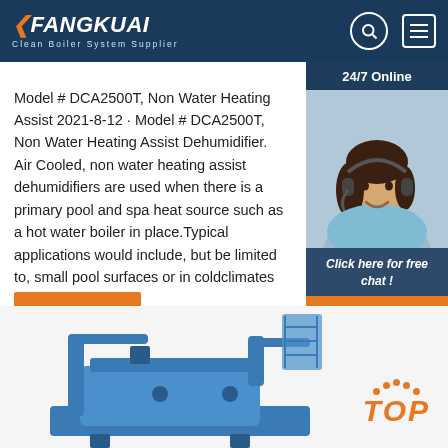[Figure (logo): Fangkuai logo with orange arrow and text 'Clean Boiler System Supplier' on dark blue header bar]
Model # DCA2500T, Non Water Heating Assist 2021-8-12 · Model # DCA2500T, Non Water Heating Assist Dehumidifier. Air Cooled, non water heating assist dehumidifiers are used when there is a primary pool and spa heat source such as a hot water boiler in place.Typical applications would include, but be limited to, small pool surfaces or in coldclimates or both.
[Figure (photo): Customer service agent (woman with headset) in 24/7 online chat widget on dark blue background]
Get Price
Click here for free chat !
QUOTATION
[Figure (photo): Blue industrial boiler equipment partially visible at bottom of page, with orange TOP badge in bottom right]